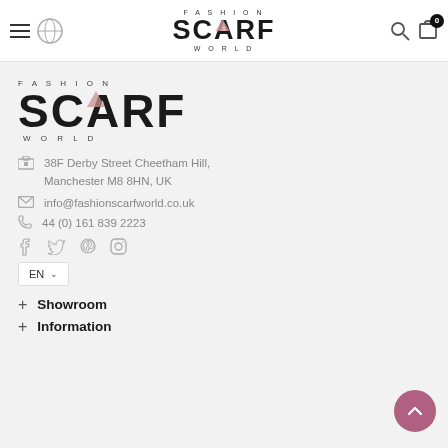Fashion Scarf World — navigation header with hamburger menu, logo, search and cart icons
[Figure (logo): Fashion Scarf World logo — large version with FASHION text above, SCARF in bold large letters, WORLD below]
38F Derby Street Cheetham Hill, Manchester M8 8HN, UK
info@fashionscarfworld.co.uk
44 (0) 161 839 2223
[Figure (other): Social media icons: Facebook, Twitter, Pinterest, Instagram]
EN (language selector dropdown)
+ Showroom
+ Information